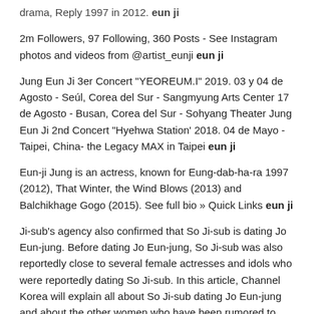drama, Reply 1997 in 2012. eun ji
2m Followers, 97 Following, 360 Posts - See Instagram photos and videos from @artist_eunji eun ji
Jung Eun Ji 3er Concert "YEOREUM.I" 2019. 03 y 04 de Agosto - Seúl, Corea del Sur - Sangmyung Arts Center 17 de Agosto - Busan, Corea del Sur - Sohyang Theater Jung Eun Ji 2nd Concert "Hyehwa Station' 2018. 04 de Mayo - Taipei, China- the Legacy MAX in Taipei eun ji
Eun-ji Jung is an actress, known for Eung-dab-ha-ra 1997 (2012), That Winter, the Wind Blows (2013) and Balchikhage Gogo (2015). See full bio » Quick Links eun ji
Ji-sub's agency also confirmed that So Ji-sub is dating Jo Eun-jung. Before dating Jo Eun-jung, So Ji-sub was also reportedly close to several female actresses and idols who were reportedly dating So Ji-sub. In this article, Channel Korea will explain all about So Ji-sub dating Jo Eun-jung and about the other women who have been rumored to eun ji